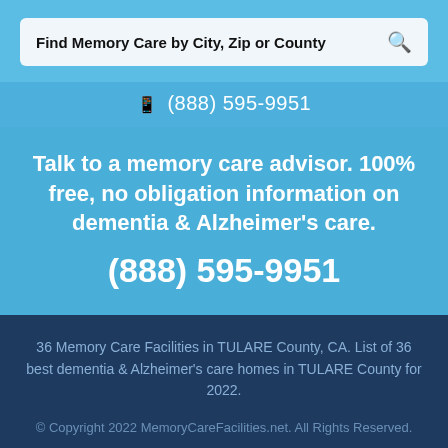Find Memory Care by City, Zip or County
📱 (888) 595-9951
Talk to a memory care advisor. 100% free, no obligation information on dementia & Alzheimer's care. (888) 595-9951
36 Memory Care Facilities in TULARE County, CA. List of 36 best dementia & Alzheimer's care homes in TULARE County for 2022.
© Copyright 2022 MemoryCareFacilities.net. All Rights Reserved. About Us | Contact Us